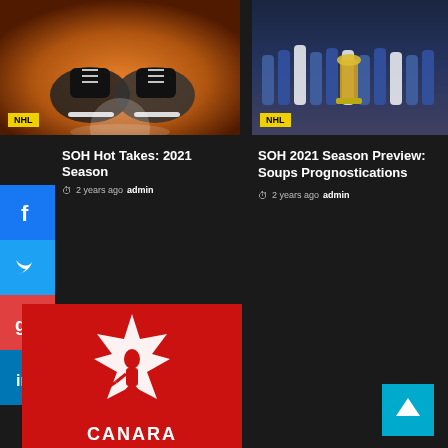[Figure (photo): Hockey skates close-up with orange glow background - left column top image]
[Figure (photo): Tampa Bay Lightning team photo with Stanley Cup - right column top image]
SOH Hot Takes: 2021 Season
2 years ago  admin
SOH 2021 Season Preview: Soups Prognostications
2 years ago  admin
[Figure (photo): Team Canada hockey logo on red background with maple leaf and player silhouette, CANADA text at bottom]